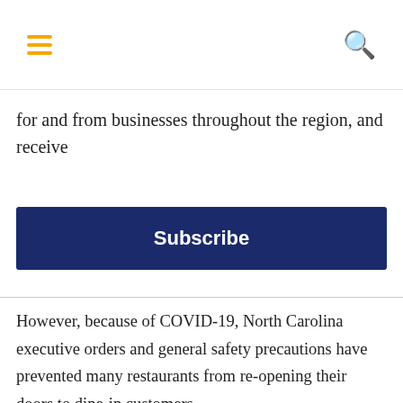for and from businesses throughout the region, and receive
Subscribe
However, because of COVID-19, North Carolina executive orders and general safety precautions have prevented many restaurants from re-opening their doors to dine-in customers.
To adjust to this change while still celebrating Restaurant Week for the ninth consecutive year, the Chamber has compiled a list that caters to both dine-in and take-out needs. We've gathered a list of ten restaurants we think you'll love this Restaurant Week. Don't forget to check